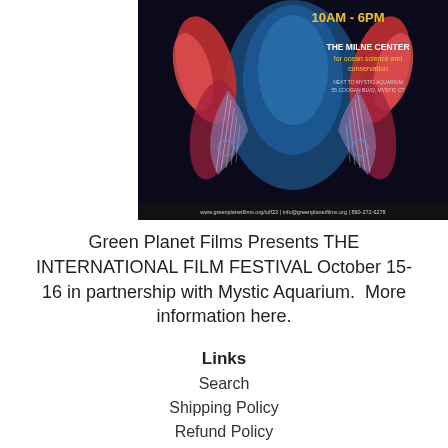[Figure (photo): Green Planet Films International Film Festival poster showing luminescent sea creatures (lobsters/shrimp) against a blue ocean background. Text reads: 10am - 6pm, THE MILNE CENTER for ocean science and conservation, NEXT TO MYSTIC AQUARIUM, 55 COOGAN BLVD, MYSTIC CT. Bottom bar: www.greenplanetfilms.org/ioff22 | info@greenplanetfilms.org | 860-272-6278]
Green Planet Films Presents THE INTERNATIONAL FILM FESTIVAL October 15-16 in partnership with Mystic Aquarium.  More information here.
Links
Search
Shipping Policy
Refund Policy